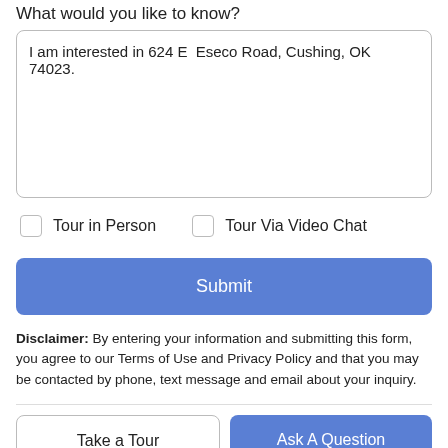What would you like to know?
I am interested in 624 E  Eseco Road, Cushing, OK 74023.
Tour in Person
Tour Via Video Chat
Submit
Disclaimer: By entering your information and submitting this form, you agree to our Terms of Use and Privacy Policy and that you may be contacted by phone, text message and email about your inquiry.
Take a Tour
Ask A Question